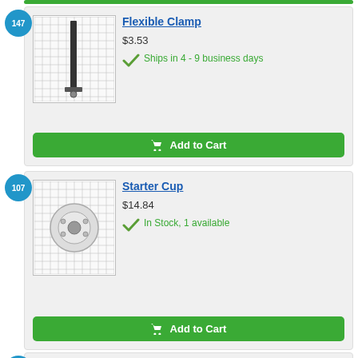[Figure (other): Top green bar strip at top of page]
147
[Figure (photo): Flexible Clamp product image showing a long narrow clamp on a grid background]
Flexible Clamp
$3.53
Ships in 4 - 9 business days
Add to Cart
107
[Figure (photo): Starter Cup product image showing a round cup/disc on a grid background]
Starter Cup
$14.84
In Stock, 1 available
Add to Cart
122
[Figure (photo): Washer-Flat product image on grid background]
Washer-Flat